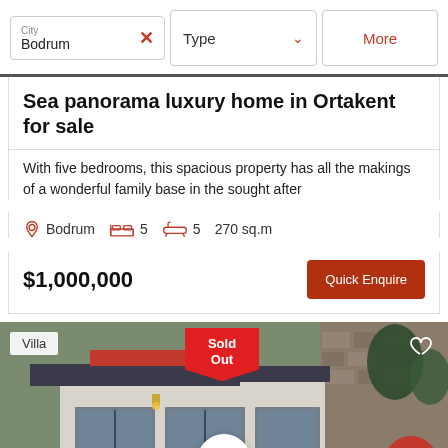City: Bodrum | Type | More
Sea panorama luxury home in Ortakent for sale
With five bedrooms, this spacious property has all the makings of a wonderful family base in the sought after
Bodrum  5  5  270 sq.m
$1,000,000
Quick Enquire
[Figure (photo): Modern villa/house exterior with red-tiled roof overhang, stone walls, large glass doors, and garden. Sold Out badge visible. Villa tag in top-left. Heart, scroll-up, and call buttons visible.]